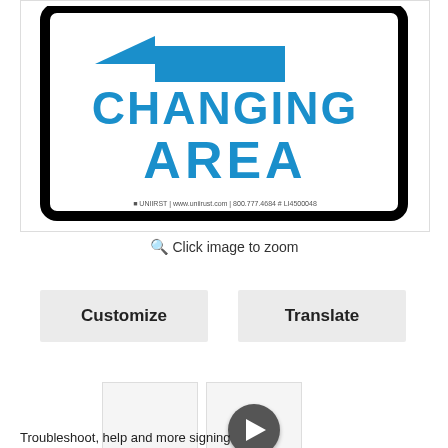[Figure (illustration): A cropped view of a rectangular parking/facility sign with a thick black border on a white background. A blue left-pointing arrow is at the top. Below it in large bold blue uppercase letters: CHANGING AREA. A small logo/text line appears at the bottom of the sign.]
🔍 Click image to zoom
Customize
Translate
[Figure (photo): Small thumbnail image placeholder (blank/light)]
[Figure (other): Small thumbnail with a dark circular play button in the center, indicating a video preview]
Troubleshoot, help and more signing